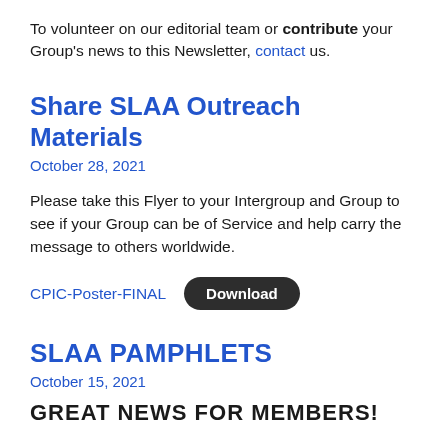To volunteer on our editorial team or contribute your Group's news to this Newsletter, contact us.
Share SLAA Outreach Materials
October 28, 2021
Please take this Flyer to your Intergroup and Group to see if your Group can be of Service and help carry the message to others worldwide.
CPIC-Poster-FINAL  Download
SLAA PAMPHLETS
October 15, 2021
GREAT NEWS FOR MEMBERS!